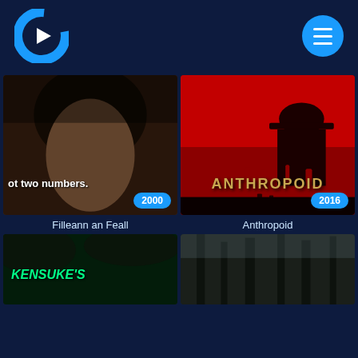[Figure (logo): Crunchyroll-style streaming app logo: blue C-shape with white play triangle]
[Figure (screenshot): Mobile streaming app interface showing movie thumbnails: Filleann an Feall (2000) and Anthropoid (2016), with Kensuke's Kingdom partially visible at bottom]
ot two numbers.
2000
Filleann an Feall
ANTHROPOID
2016
Anthropoid
KENSUKE'S